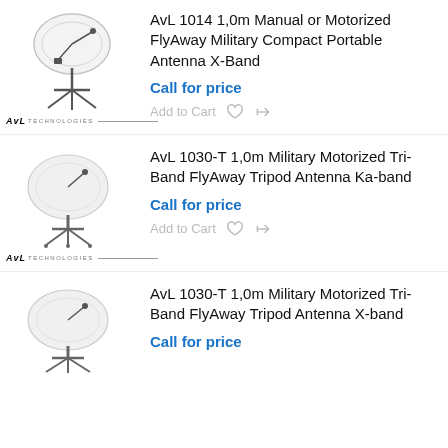[Figure (photo): AvL 1014 satellite antenna dish on mount, black and white sketch/photo style, with AvL Technologies logo below]
AvL 1014 1,0m Manual or Motorized FlyAway Military Compact Portable Antenna X-Band
Call for price
Add to Cart
[Figure (photo): AvL 1030-T tripod satellite antenna, white dish, black and white style, with AvL Technologies logo below]
AvL 1030-T 1,0m Military Motorized Tri-Band FlyAway Tripod Antenna Ka-band
Call for price
Add to Cart
[Figure (photo): AvL 1030-T tripod satellite antenna, white dish, black and white style]
AvL 1030-T 1,0m Military Motorized Tri-Band FlyAway Tripod Antenna X-band
Call for price